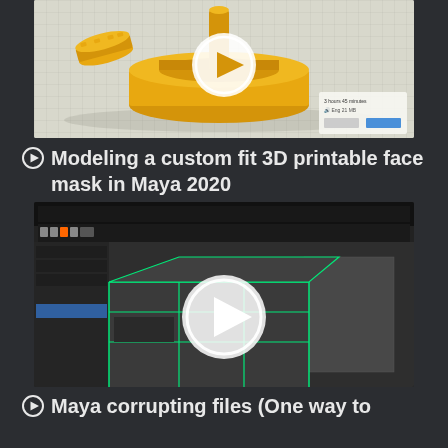[Figure (screenshot): 3D printing software screenshot showing yellow 3D printed objects (circular base and gear-like piece) on a grid surface, with a play button overlay indicating a video thumbnail]
▶ Modeling a custom fit 3D printable face mask in Maya 2020
[Figure (screenshot): Maya 2020 3D modeling software screenshot showing a dark viewport with green wireframe edges on a 3D model, with a play button overlay indicating a video thumbnail]
▶ Maya corrupting files (One way to